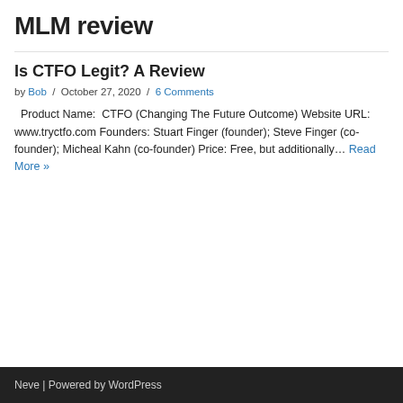MLM review
Is CTFO Legit? A Review
by Bob / October 27, 2020 / 6 Comments
Product Name:  CTFO (Changing The Future Outcome) Website URL: www.tryctfo.com Founders: Stuart Finger (founder); Steve Finger (co-founder); Micheal Kahn (co-founder) Price: Free, but additionally… Read More »
Neve | Powered by WordPress